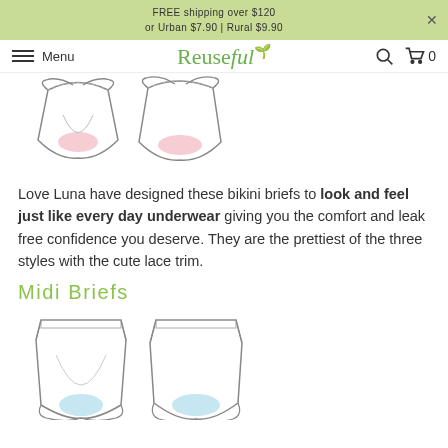FREE shipping over $120 or Urban $7.90 | Rural $9.90
Menu  Reuseful  🔍 🛒 0
[Figure (illustration): Two bikini brief underwear illustrations, front view, showing pink absorbent gusset area. Line drawings on white background.]
Love Luna have designed these bikini briefs to look and feel just like every day underwear giving you the comfort and leak free confidence you deserve. They are the prettiest of the three styles with the cute lace trim.
Midi Briefs
[Figure (illustration): Two midi brief underwear illustrations showing front and back views with light blue absorbent gusset area highlighted. Line drawings on white background.]